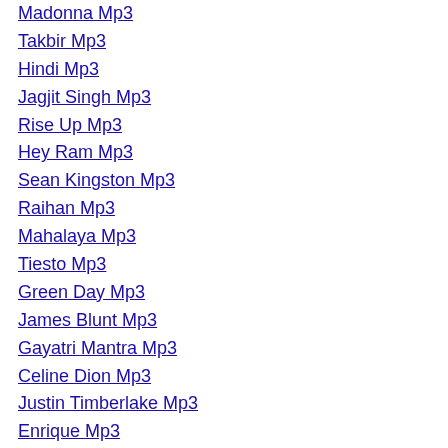Madonna Mp3
Takbir Mp3
Hindi Mp3
Jagjit Singh Mp3
Rise Up Mp3
Hey Ram Mp3
Sean Kingston Mp3
Raihan Mp3
Mahalaya Mp3
Tiesto Mp3
Green Day Mp3
James Blunt Mp3
Gayatri Mantra Mp3
Celine Dion Mp3
Justin Timberlake Mp3
Enrique Mp3
Tamil Mp3
Thodi Mila De Mp3
Guta Mp3
Kanye West Mp3
Nelly Furtado Mp3
Wwe Mp3
J Squad Mp3
Sinan Sakic Mp3
Sivaji Mp3